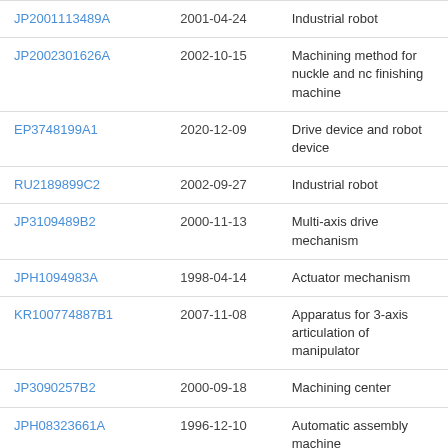| JP2001113489A | 2001-04-24 | Industrial robot |
| JP2002301626A | 2002-10-15 | Machining method for nuckle and nc finishing machine |
| EP3748199A1 | 2020-12-09 | Drive device and robot device |
| RU2189899C2 | 2002-09-27 | Industrial robot |
| JP3109489B2 | 2000-11-13 | Multi-axis drive mechanism |
| JPH1094983A | 1998-04-14 | Actuator mechanism |
| KR100774887B1 | 2007-11-08 | Apparatus for 3-axis articulation of manipulator |
| JP3090257B2 | 2000-09-18 | Machining center |
| JPH08323661A | 1996-12-10 | Automatic assembly machine |
| GB886185A | 1988-05-05 | Actuator assembly... |